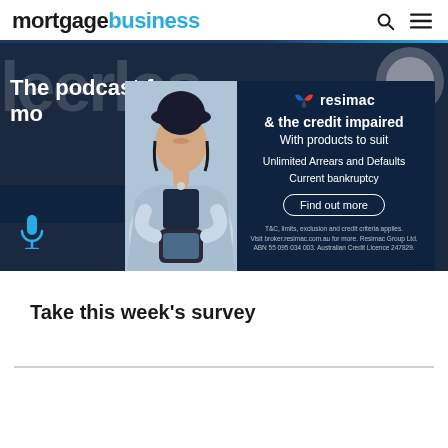mortgage business
[Figure (screenshot): Podcast banner with dark background showing 'The podcast for mo...' text and microphone icon]
[Figure (infographic): Resimac advertisement overlay on dark navy background with person looking at phone. Text: Resimac logo, '& the credit impaired', 'With products to suit', 'Unlimited Arrears and Defaults', 'Current bankruptcy', 'Find out more' button, fine print about T&C, broker.resimac.com.au, Resimac Group Ltd ABN 55 095 034 003, Australian Credit Licence 247829.]
Take this week's survey